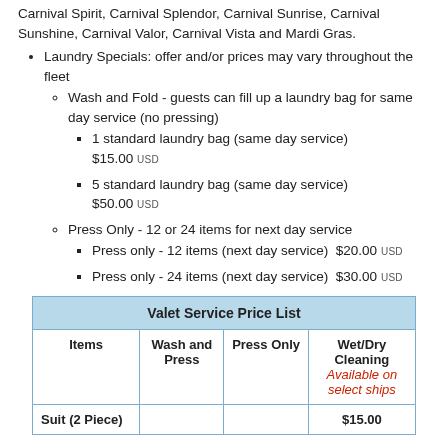Carnival Spirit, Carnival Splendor, Carnival Sunrise, Carnival Sunshine, Carnival Valor, Carnival Vista and Mardi Gras.
Laundry Specials: offer and/or prices may vary throughout the fleet
Wash and Fold - guests can fill up a laundry bag for same day service (no pressing)
1 standard laundry bag (same day service) $15.00 USD
5 standard laundry bag (same day service) $50.00 USD
Press Only - 12 or 24 items for next day service
Press only - 12 items (next day service) $20.00 USD
Press only - 24 items (next day service) $30.00 USD
| Items | Wash and Press | Press Only | Wet/Dry Cleaning Available on select ships |
| --- | --- | --- | --- |
| Suit (2 Piece) |  |  | $15.00 |